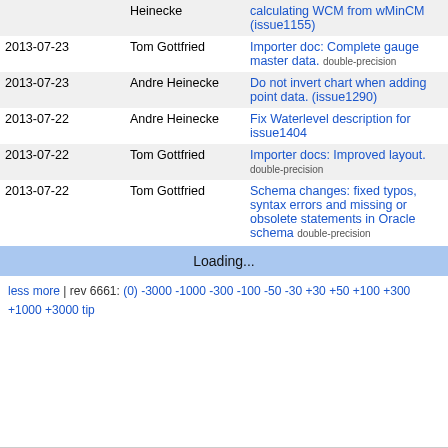| Date | Author | Message |
| --- | --- | --- |
|  | Heinecke | calculating WCM from wMinCM (issue1155) |
| 2013-07-23 | Tom Gottfried | Importer doc: Complete gauge master data. double-precision |
| 2013-07-23 | Andre Heinecke | Do not invert chart when adding point data. (issue1290) |
| 2013-07-22 | Andre Heinecke | Fix Waterlevel description for issue1404 |
| 2013-07-22 | Tom Gottfried | Importer docs: Improved layout. double-precision |
| 2013-07-22 | Tom Gottfried | Schema changes: fixed typos, syntax errors and missing or obsolete statements in Oracle schema double-precision |
Loading...
less more | rev 6661: (0) -3000 -1000 -300 -100 -50 -30 +30 +50 +100 +300 +1000 +3000 tip